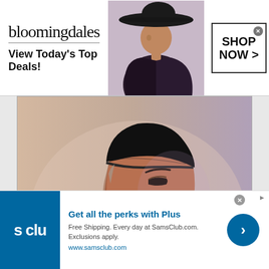[Figure (illustration): Bloomingdales advertisement banner with logo, tagline 'View Today's Top Deals!', woman in wide-brim hat, and 'SHOP NOW >' button]
[Figure (photo): Portrait photograph of a man in profile view wearing a black kufi cap and dark traditional attire, against a soft purple-pink background with a blue flag visible on the left]
[Figure (illustration): Sam's Club advertisement with blue logo showing 's clu', headline 'Get all the perks with Plus', body text 'Free Shipping. Every day at SamsClub.com. Exclusions apply.', URL www.samsclub.com, and blue arrow button]